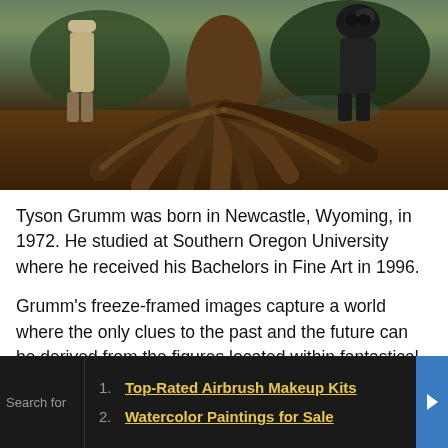[Figure (photo): Painting by Tyson Grumm showing two figures standing near a large fantastical tree with massive exposed roots in an earthy forest setting]
Tyson Grumm was born in Newcastle, Wyoming, in 1972. He studied at Southern Oregon University where he received his Bachelors in Fine Art in 1996.
Grumm's freeze-framed images capture a world where the only clues to the past and the future can be derived from the figures located within fantastical surroundings. Consequently, each work reveals a story that is only partially told, enabling each viewer to contribute their own unique story to
1. Top-Rated Airbrush Makeup Kits
2. Watercolor Paintings for Sale